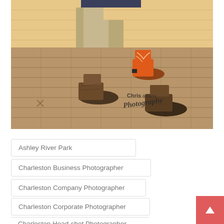[Figure (photo): Close-up photo of two people's legs on a wooden deck floor. One person wears khaki pants with brown boots, the other wears orange cowboy boots. Watermark reads 'Chris & Cami Photography' in lower right corner.]
Ashley River Park
Charleston Business Photographer
Charleston Company Photographer
Charleston Corporate Photographer
Charleston Head-shot Photographer